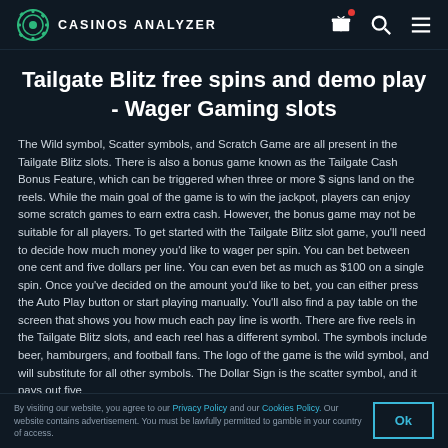CASINOS ANALYZER
Tailgate Blitz free spins and demo play - Wager Gaming slots
The Wild symbol, Scatter symbols, and Scratch Game are all present in the Tailgate Blitz slots. There is also a bonus game known as the Tailgate Cash Bonus Feature, which can be triggered when three or more $ signs land on the reels. While the main goal of the game is to win the jackpot, players can enjoy some scratch games to earn extra cash. However, the bonus game may not be suitable for all players. To get started with the Tailgate Blitz slot game, you'll need to decide how much money you'd like to wager per spin. You can bet between one cent and five dollars per line. You can even bet as much as $100 on a single spin. Once you've decided on the amount you'd like to bet, you can either press the Auto Play button or start playing manually. You'll also find a pay table on the screen that shows you how much each pay line is worth. There are five reels in the Tailgate Blitz slots, and each reel has a different symbol. The symbols include beer, hamburgers, and football fans. The logo of the game is the wild symbol, and will substitute for all other symbols. The Dollar Sign is the scatter symbol, and it pays out five
By visiting our website, you agree to our Privacy Policy and our Cookies Policy. Our website contains advertisement. You must be lawfully permitted to gamble in your country of access.